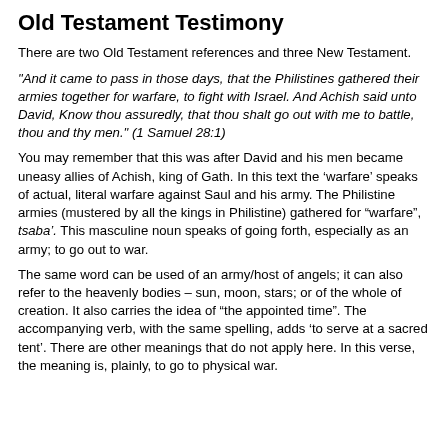Old Testament Testimony
There are two Old Testament references and three New Testament.
“And it came to pass in those days, that the Philistines gathered their armies together for warfare, to fight with Israel. And Achish said unto David, Know thou assuredly, that thou shalt go out with me to battle, thou and thy men.” (1 Samuel 28:1)
You may remember that this was after David and his men became uneasy allies of Achish, king of Gath. In this text the ‘warfare’ speaks of actual, literal warfare against Saul and his army. The Philistine armies (mustered by all the kings in Philistine) gathered for “warfare”, tsaba’. This masculine noun speaks of going forth, especially as an army; to go out to war.
The same word can be used of an army/host of angels; it can also refer to the heavenly bodies – sun, moon, stars; or of the whole of creation. It also carries the idea of “the appointed time”. The accompanying verb, with the same spelling, adds ‘to serve at a sacred tent’. There are other meanings that do not apply here. In this verse, the meaning is, plainly, to go to physical war.